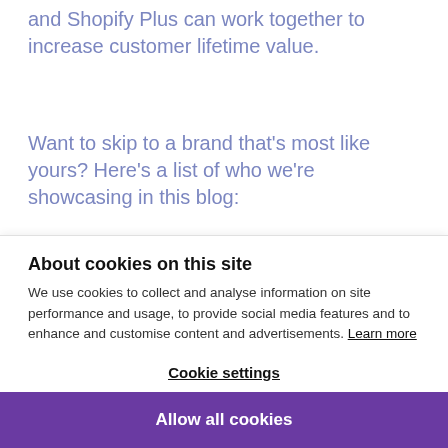and Shopify Plus can work together to increase customer lifetime value.
Want to skip to a brand that's most like yours? Here's a list of who we're showcasing in this blog:
100% Pure
About cookies on this site
We use cookies to collect and analyse information on site performance and usage, to provide social media features and to enhance and customise content and advertisements. Learn more
Cookie settings
Allow all cookies